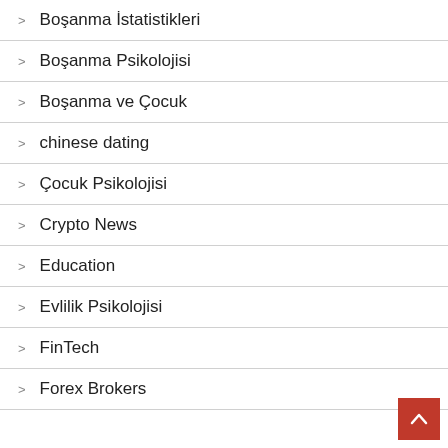> Boşanma İstatistikleri
> Boşanma Psikolojisi
> Boşanma ve Çocuk
> chinese dating
> Çocuk Psikolojisi
> Crypto News
> Education
> Evlilik Psikolojisi
> FinTech
> Forex Brokers